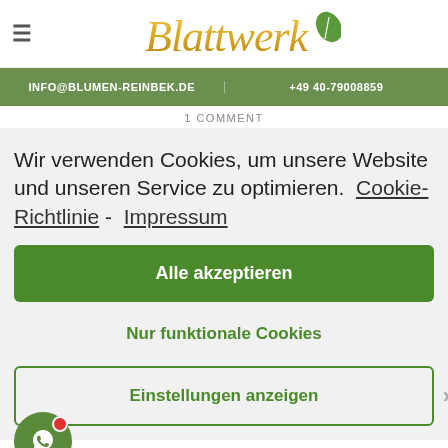Blattwerk
INFO@BLUMEN-REINBEK.DE   +49 40-79008859
1 COMMENT
Wir verwenden Cookies, um unsere Website und unseren Service zu optimieren.  Cookie-Richtlinie -  Impressum
Alle akzeptieren
Nur funktionale Cookies
Einstellungen anzeigen